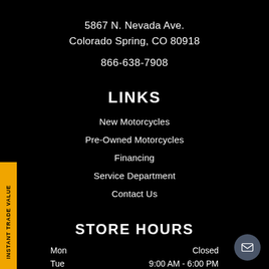5867 N. Nevada Ave.
Colorado Spring, CO 80918
866-638-7908
LINKS
New Motorcycles
Pre-Owned Motorcycles
Financing
Service Department
Contact Us
STORE HOURS
| Day | Hours |
| --- | --- |
| Mon | Closed |
| Tue | 9:00 AM - 6:00 PM |
| Wed | 9:00 AM - 6:00 PM |
| Thu | 9:00 AM - 6:00 PM |